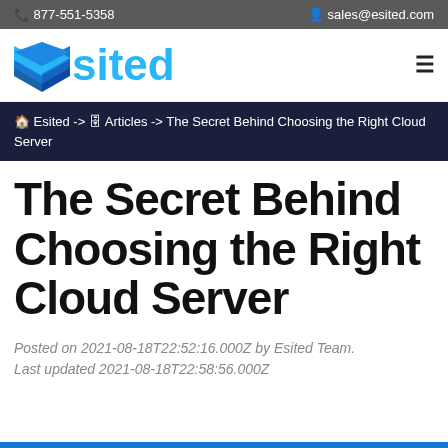877-551-5358   sales@esited.com
[Figure (logo): Esited logo with blue layered diamond shape and blue text 'sited']
Esited -> Articles -> The Secret Behind Choosing the Right Cloud Server
The Secret Behind Choosing the Right Cloud Server
Posted on 2021-08-18T22:52:16.000Z by Esited Team. Last updated 2021-08-18T22:58:56.000Z